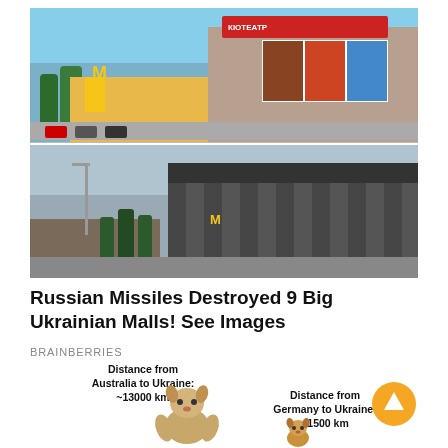[Figure (photo): Two stacked photos of a Ukrainian shopping mall. Top photo shows the mall intact with McDonald's logo, movie posters on the facade, and parked cars. Bottom photo shows the same mall destroyed and burned out, with charred walls and no signage.]
Russian Missiles Destroyed 9 Big Ukrainian Malls! See Images
BRAINBERRIES
[Figure (infographic): Meme image showing a muscular Doge dog labeled 'Distance from Australia to Ukraine: ~13000 km' and a small normal Shiba Inu labeled 'Distance from Germany to Ukraine: ~1500 km'. An orange circle with a white upward arrow is in the bottom right.]